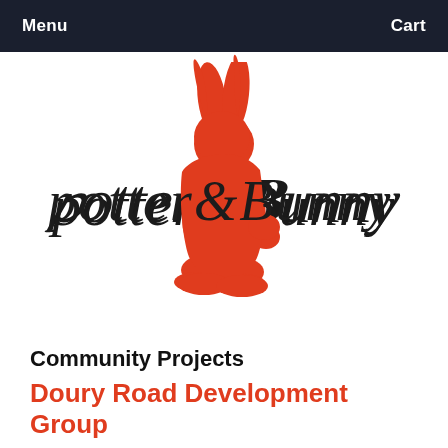Menu    Cart
[Figure (logo): Potter & Bunny logo: a red rabbit silhouette with handwritten script text 'Potter & Bunny' overlaid]
Community Projects
Doury Road Development Group